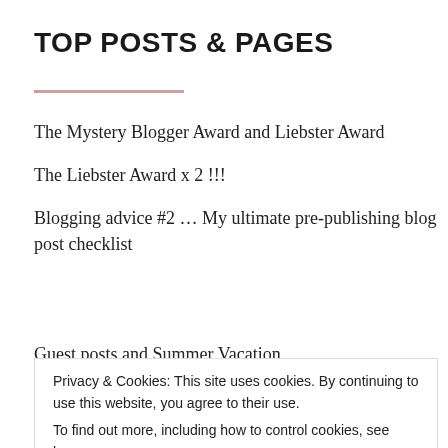TOP POSTS & PAGES
The Mystery Blogger Award and Liebster Award
The Liebster Award x 2 !!!
Blogging advice #2 … My ultimate pre-publishing blog post checklist
Guest posts and Summer Vacation
Privacy & Cookies: This site uses cookies. By continuing to use this website, you agree to their use.
To find out more, including how to control cookies, see here:
Cookie Policy
CLOSE AND ACCEPT
Summer Blog Showcase: Entry #1